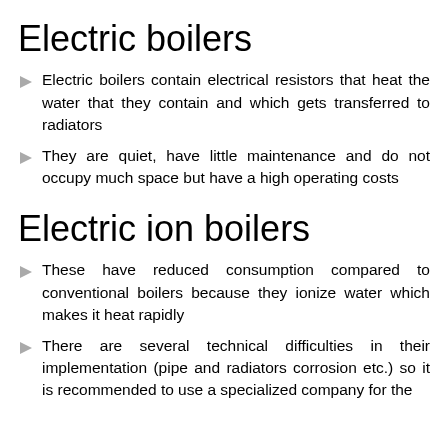Electric boilers
Electric boilers contain electrical resistors that heat the water that they contain and which gets transferred to radiators
They are quiet, have little maintenance and do not occupy much space but have a high operating costs
Electric ion boilers
These have reduced consumption compared to conventional boilers because they ionize water which makes it heat rapidly
There are several technical difficulties in their implementation (pipe and radiators corrosion etc.) so it is recommended to use a specialized company for the